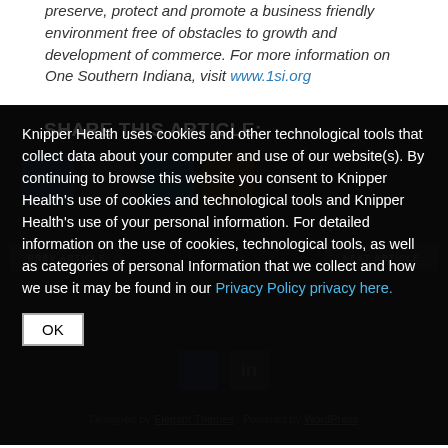preserve, protect and promote a business friendly environment free of obstacles to growth and development of commerce. For more information on One Southern Indiana, visit www.1si.org
SHARE THIS ARTICLE:
Knipper Health uses cookies and other technological tools that collect data about your computer and use of our website(s). By continuing to browse this website you consent to Knipper Health's use of cookies and technological tools and Knipper Health's use of your personal information. For detailed information on the use of cookies, technological tools, as well as categories of personal Information that we collect and how we use it may be found in our Privacy Policy privacy here.
OK
Designed by Elegant Themes · Powered by WordPress